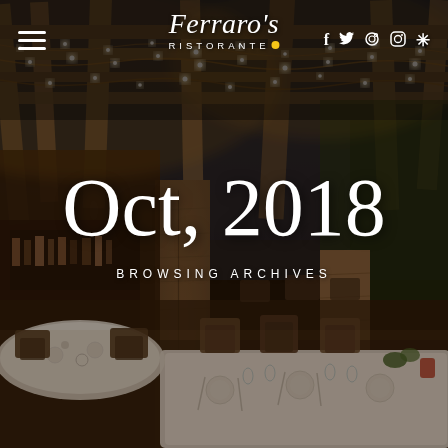[Figure (photo): Restaurant patio/terrace interior photo at dusk with string lights hanging from wooden pergola ceiling, set tables with white tablecloths, stone pillars, warm ambient lighting]
☰  Ferraro's RISTORANTE  f  🐦  🧭  📷  ⚜
Oct, 2018
BROWSING ARCHIVES